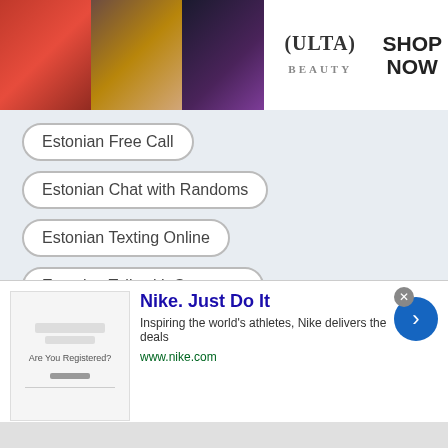[Figure (photo): Ulta Beauty banner advertisement with makeup photos and SHOP NOW text]
Estonian Free Call
Estonian Chat with Randoms
Estonian Texting Online
Estonian Talk with Strangers
Estonian Omegle Text Chat
Estonian Desi Chat
Estonian Phone Call
Estonian Call App
Estonian Talk & Text
Estonian Calling
Estonian Omegle Girls
[Figure (photo): Nike advertisement: Nike. Just Do It. Inspiring the world's athletes, Nike delivers the deals. www.nike.com]